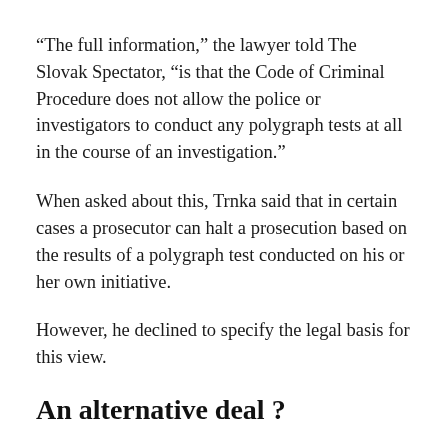“The full information,” the lawyer told The Slovak Spectator, “is that the Code of Criminal Procedure does not allow the police or investigators to conduct any polygraph tests at all in the course of an investigation.”
When asked about this, Trnka said that in certain cases a prosecutor can halt a prosecution based on the results of a polygraph test conducted on his or her own initiative.
However, he declined to specify the legal basis for this view.
An alternative deal ?